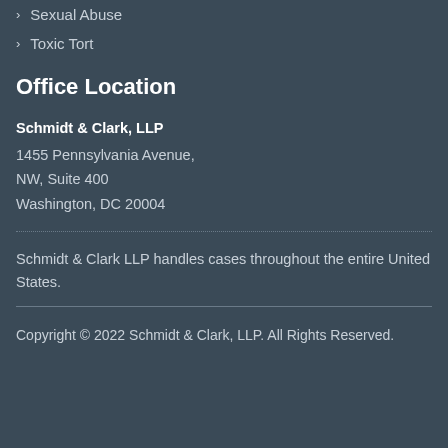Sexual Abuse
Toxic Tort
Office Location
Schmidt & Clark, LLP
1455 Pennsylvania Avenue,
NW, Suite 400
Washington, DC 20004
Schmidt & Clark LLP handles cases throughout the entire United States.
Copyright © 2022 Schmidt & Clark, LLP. All Rights Reserved.